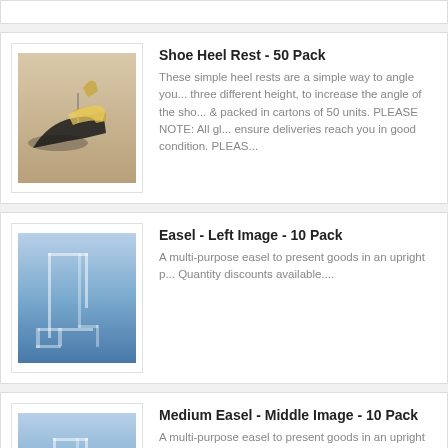[Figure (photo): Partial product card visible at top of page]
[Figure (photo): Photo of shoe heel rests - black and gold strappy sandals on display]
Shoe Heel Rest - 50 Pack
These simple heel rests are a simple way to angle you... three different height, to increase the angle of the sho... & packed in cartons of 50 units. PLEASE NOTE: All gl... ensure deliveries reach you in good condition. PLEAS...
[Figure (photo): Photo of clear acrylic easel display stand on blue gradient background]
Easel - Left Image - 10 Pack
A multi-purpose easel to present goods in an upright p... Quantity discounts available....
[Figure (photo): Photo of clear acrylic medium easel display stand on blue gradient background]
Medium Easel - Middle Image - 10 Pack
A multi-purpose easel to present goods in an upright p... Quantity discounts available...